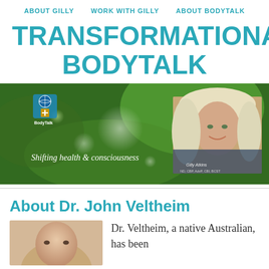ABOUT GILLY   WORK WITH GILLY   ABOUT BODYTALK
TRANSFORMATIONAL BODYTALK
[Figure (photo): Banner image with green bokeh background, BodyTalk logo top left, woman with blonde hair smiling on right side, italic text 'Shifting health & consciousness' on left, name 'Gilly Atkins' beneath photo]
About Dr. John Veltheim
[Figure (photo): Partial photo of person at bottom left]
Dr. Veltheim, a native Australian, has been